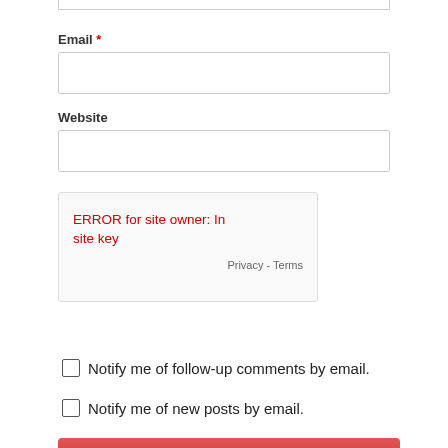Email *
[Figure (screenshot): Empty email text input field]
Website
[Figure (screenshot): Empty website text input field]
[Figure (screenshot): reCAPTCHA error box: ERROR for site owner: Invalid site key, with Privacy - Terms links]
Notify me of follow-up comments by email.
Notify me of new posts by email.
[Figure (screenshot): POST COMMENT button]